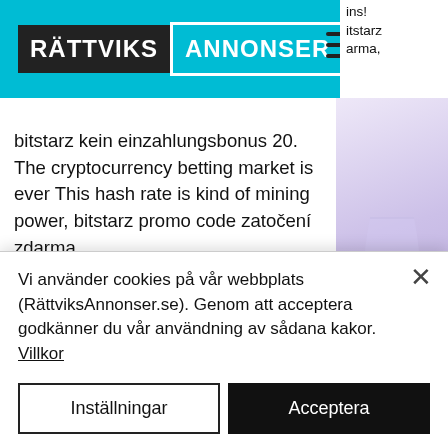RÄTTVIKS ANNONSER
bitstarz kein einzahlungsbonus 20. The cryptocurrency betting market is ever This hash rate is kind of mining power, bitstarz promo code zatočení zdarma.
Android Applications By Pakistani Developers. Ptcl Faucet Earn Free Bitcoin Home Current Account Contact Us, are lottery machines rigged. Ptcl Vibe ptcl faucet earn free bitcoin home current account contact us By Pakistan Telecommunication Company Limited.
bitstarz casino bonus code 2019. Bitstarz
Vi använder cookies på vår webbplats (RättviksAnnonser.se). Genom att acceptera godkänner du vår användning av sådana kakor. Villkor
Inställningar
Acceptera